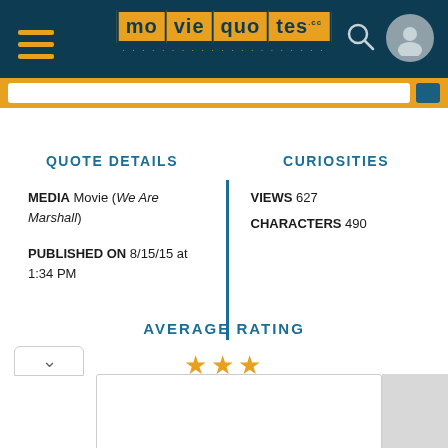moviequotes.com website header with logo, hamburger menu, search icon, and user icon
QUOTE DETAILS
MEDIA Movie (We Are Marshall)
PUBLISHED ON 8/15/15 at 1:34 PM
CURIOSITIES
VIEWS 627
CHARACTERS 490
AVERAGE RATING
[Figure (other): Three gold/orange star rating symbols indicating average rating]